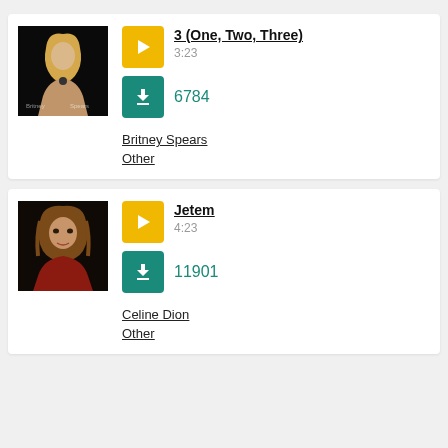[Figure (other): Britney Spears album art thumbnail showing Britney Spears with blonde hair on dark background with text 'Britney' and 'Spears']
3 (One, Two, Three)
3:23
6784
Britney Spears
Other
[Figure (other): Celine Dion portrait photo showing woman with brown hair and red top on dark background]
Jetem
4:23
11901
Celine Dion
Other